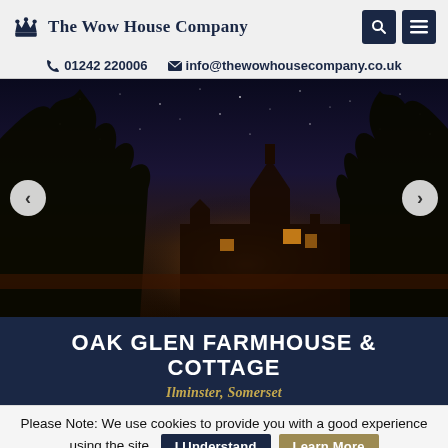The Wow House Company | 01242 220006 | info@thewowhousecompany.co.uk
[Figure (photo): Nighttime photo of Oak Glen Farmhouse with starry sky, silhouetted trees, and warm lights glowing from the building windows]
OAK GLEN FARMHOUSE & COTTAGE
Ilminster, Somerset
Please Note: We use cookies to provide you with a good experience using the site. I Understand Learn More